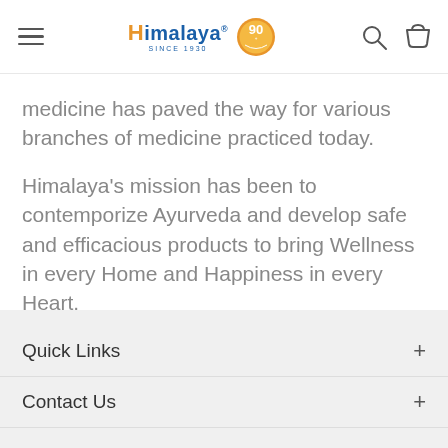Himalaya SINCE 1930 [90+ badge] [search icon] [bag icon]
medicine has paved the way for various branches of medicine practiced today.
Himalaya's mission has been to contemporize Ayurveda and develop safe and efficacious products to bring Wellness in every Home and Happiness in every Heart.
Quick Links
Contact Us